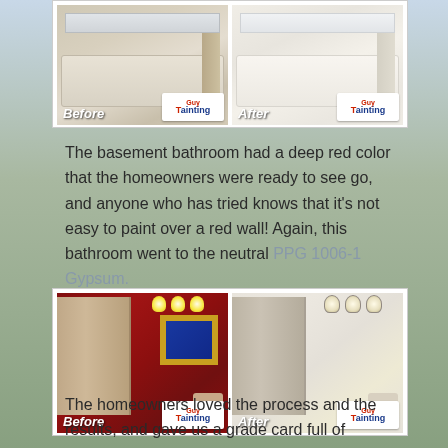[Figure (photo): Before and after photos of a bathroom with white tub/shower, showing transformation from tan/wood tones to clean white. Each photo has a 'Guy Tainting' logo badge.]
The basement bathroom had a deep red color that the homeowners were ready to see go, and anyone who has tried knows that it's not easy to paint over a red wall! Again, this bathroom went to the neutral PPG 1006-1 Gypsum.
[Figure (photo): Before and after photos of a basement bathroom with deep red walls transformed to neutral white/grey. Before shows red walls with gold-framed mirror and pendant lights. After shows neutral walls same layout. Each has 'Guy Tainting' logo badge.]
The homeowners loved the process and the results, and gave us a grade card full of straight A's! We make